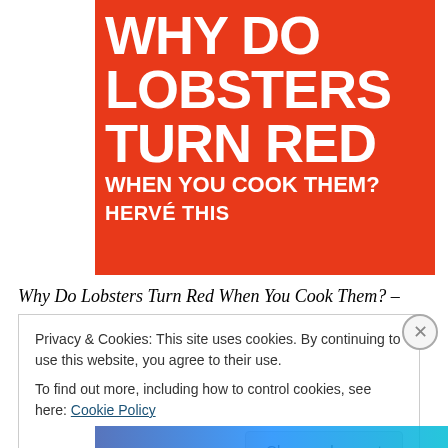[Figure (illustration): Book cover for 'Why Do Lobsters Turn Red When You Cook Them?' by Hervé This. Red/orange background with large white bold uppercase text for the title and author name.]
Why Do Lobsters Turn Red When You Cook Them? –
Privacy & Cookies: This site uses cookies. By continuing to use this website, you agree to their use.
To find out more, including how to control cookies, see here: Cookie Policy